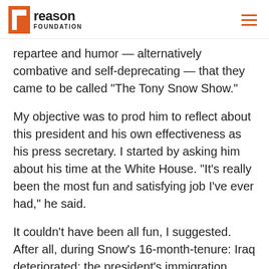reason FOUNDATION
repartee and humor — alternatively combative and self-deprecating — that they came to be called “The Tony Snow Show.”
My objective was to prod him to reflect about this president and his own effectiveness as his press secretary. I started by asking him about his time at the White House. “It’s really been the most fun and satisfying job I’ve ever had,” he said.
It couldn’t have been all fun, I suggested. After all, during Snow’s 16-month-tenure: Iraq deteriorated; the president’s immigration reforms were torpedoed; Republicans lost control of Congress; and Democrats hounded Attorney General Alberto